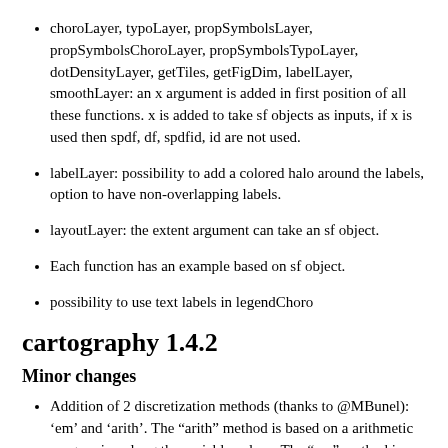choroLayer, typoLayer, propSymbolsLayer, propSymbolsChoroLayer, propSymbolsTypoLayer, dotDensityLayer, getTiles, getFigDim, labelLayer, smoothLayer: an x argument is added in first position of all these functions. x is added to take sf objects as inputs, if x is used then spdf, df, spdfid, id are not used.
labelLayer: possibility to add a colored halo around the labels, option to have non-overlapping labels.
layoutLayer: the extent argument can take an sf object.
Each function has an example based on sf object.
possibility to use text labels in legendChoro
cartography 1.4.2
Minor changes
Addition of 2 discretization methods (thanks to @MBunel): 'em' and 'arith'. The "arith" method is based on a arithmetic progression along the variable values. The "em" method is